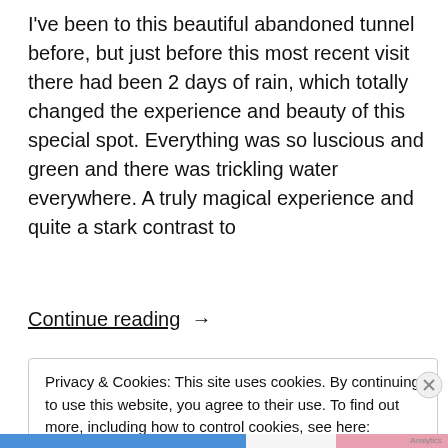I've been to this beautiful abandoned tunnel before, but just before this most recent visit there had been 2 days of rain, which totally changed the experience and beauty of this special spot. Everything was so luscious and green and there was trickling water everywhere. A truly magical experience and quite a stark contrast to
Continue reading  →
Privacy & Cookies: This site uses cookies. By continuing to use this website, you agree to their use. To find out more, including how to control cookies, see here: Cookie Policy
Close and accept